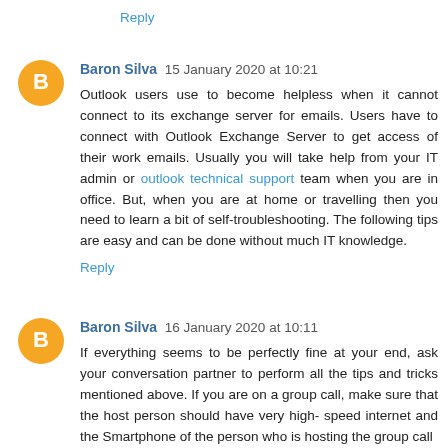Reply
Baron Silva 15 January 2020 at 10:21
Outlook users use to become helpless when it cannot connect to its exchange server for emails. Users have to connect with Outlook Exchange Server to get access of their work emails. Usually you will take help from your IT admin or outlook technical support team when you are in office. But, when you are at home or travelling then you need to learn a bit of self-troubleshooting. The following tips are easy and can be done without much IT knowledge.
Reply
Baron Silva 16 January 2020 at 10:11
If everything seems to be perfectly fine at your end, ask your conversation partner to perform all the tips and tricks mentioned above. If you are on a group call, make sure that the host person should have very high- speed internet and the Smartphone of the person who is hosting the group call